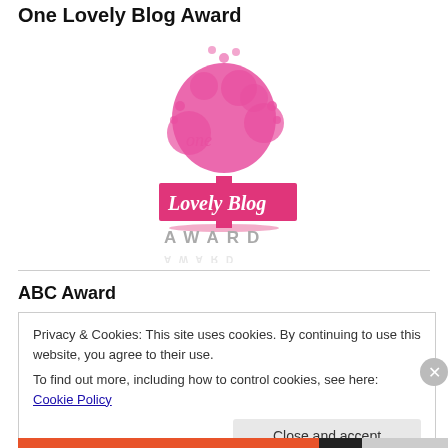One Lovely Blog Award
[Figure (logo): One Lovely Blog Award logo featuring a pink tree with heart-shaped leaves, script text 'Lovely Blog' on a pink banner, and 'AWARD' text below in grey capitals]
ABC Award
Privacy & Cookies: This site uses cookies. By continuing to use this website, you agree to their use.
To find out more, including how to control cookies, see here: Cookie Policy
Close and accept